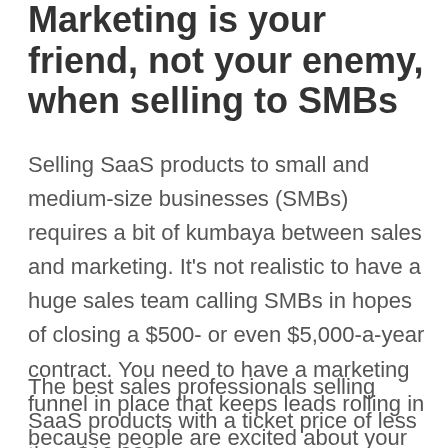Marketing is your friend, not your enemy, when selling to SMBs
Selling SaaS products to small and medium-size businesses (SMBs) requires a bit of kumbaya between sales and marketing. It's not realistic to have a huge sales team calling SMBs in hopes of closing a $500- or even $5,000-a-year contract. You need to have a marketing funnel in place that keeps leads rolling in because people are excited about your brand, your value proposition and the buzz you’re generating in the press.
The best sales professionals selling SaaS products with a ticket price of less than $10,000